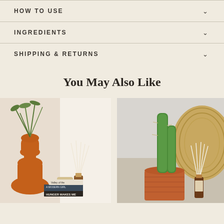HOW TO USE
INGREDIENTS
SHIPPING & RETURNS
You May Also Like
[Figure (photo): Reed diffuser with amber bottle and white sticks beside a terracotta gourd-shaped vase with green foliage, and stacked books reading 'Valley of the' and 'HUNGER MAKES ME A MODERN GIRL']
[Figure (photo): Reed diffuser with amber bottle and white sticks beside a tall cactus in a terracotta pot, with a woven basket in the background]